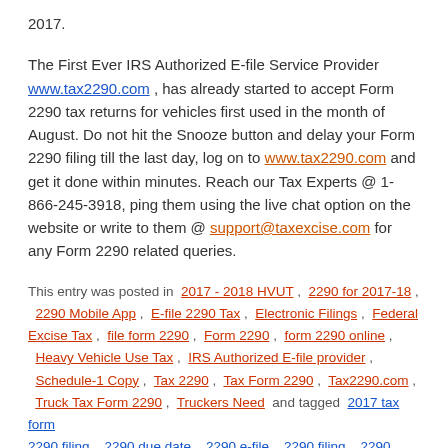2017.
The First Ever IRS Authorized E-file Service Provider www.tax2290.com , has already started to accept Form 2290 tax returns for vehicles first used in the month of August. Do not hit the Snooze button and delay your Form 2290 filing till the last day, log on to www.tax2290.com and get it done within minutes. Reach our Tax Experts @ 1-866-245-3918, ping them using the live chat option on the website or write to them @ support@taxexcise.com for any Form 2290 related queries.
This entry was posted in 2017 - 2018 HVUT , 2290 for 2017-18 , 2290 Mobile App , E-file 2290 Tax , Electronic Filings , Federal Excise Tax , file form 2290 , Form 2290 , form 2290 online , Heavy Vehicle Use Tax , IRS Authorized E-file provider , Schedule-1 Copy , Tax 2290 , Tax Form 2290 , Tax2290.com , Truck Tax Form 2290 , Truckers Need and tagged 2017 tax form 2290 filing , 2290 due date , 2290 e-file , 2290 filing , 2290